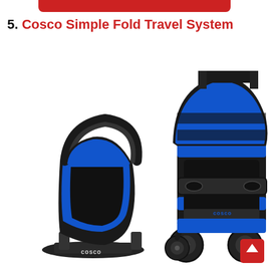5. Cosco Simple Fold Travel System
[Figure (photo): Photo of the Cosco Simple Fold Travel System showing a blue and black stroller on the right and a matching blue and black infant car seat with base on the left. The stroller has a large sun canopy, a child tray, and four wheels. The car seat has a carry handle and sits on a base. Both items feature the Cosco branding and are shown on a white background.]